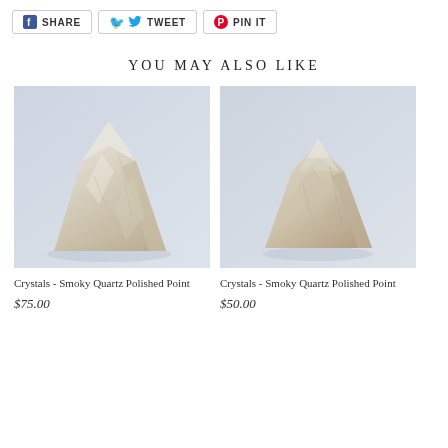SHARE  TWEET  PIN IT
YOU MAY ALSO LIKE
[Figure (photo): Photo of a smoky quartz polished crystal point, semi-transparent with light tan/grey tones, on a light blue-grey background]
Crystals - Smoky Quartz Polished Point
$75.00
[Figure (photo): Photo of a smoky quartz polished crystal point, semi-transparent with light tan/brown tones, shorter and wider shape, on a light blue-grey background]
Crystals - Smoky Quartz Polished Point
$50.00